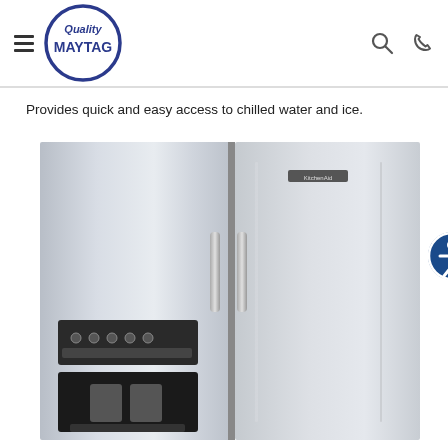Quality MAYTAG
Provides quick and easy access to chilled water and ice.
[Figure (photo): Stainless steel KitchenAid side-by-side refrigerator with external water and ice dispenser on the left door, showing control panel and dispenser area. KitchenAid logo visible on upper right door.]